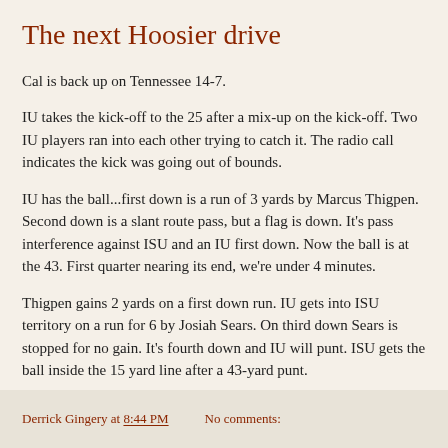The next Hoosier drive
Cal is back up on Tennessee 14-7.
IU takes the kick-off to the 25 after a mix-up on the kick-off. Two IU players ran into each other trying to catch it. The radio call indicates the kick was going out of bounds.
IU has the ball...first down is a run of 3 yards by Marcus Thigpen. Second down is a slant route pass, but a flag is down. It's pass interference against ISU and an IU first down. Now the ball is at the 43. First quarter nearing its end, we're under 4 minutes.
Thigpen gains 2 yards on a first down run. IU gets into ISU territory on a run for 6 by Josiah Sears. On third down Sears is stopped for no gain. It's fourth down and IU will punt. ISU gets the ball inside the 15 yard line after a 43-yard punt.
Derrick Gingery at 8:44 PM    No comments: